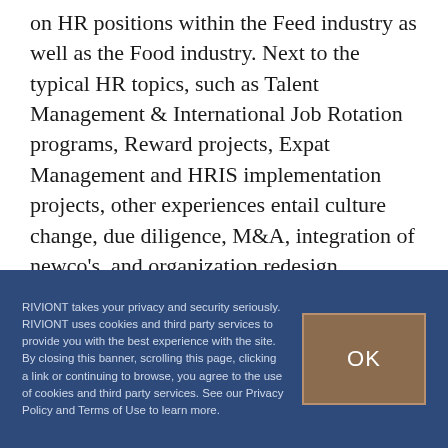on HR positions within the Feed industry as well as the Food industry. Next to the typical HR topics, such as Talent Management & International Job Rotation programs, Reward projects, Expat Management and HRIS implementation projects, other experiences entail culture change, due diligence, M&A, integration of newco's, and organization redesign.
RIVIONT takes your privacy and security seriously. RIVIONT uses cookies and third party services to provide you with the best experience with the site. By closing this banner, scrolling this page, clicking a link or continuing to browse, you agree to the use of cookies and third party services. See our Privacy Policy and Terms of Use to learn more.